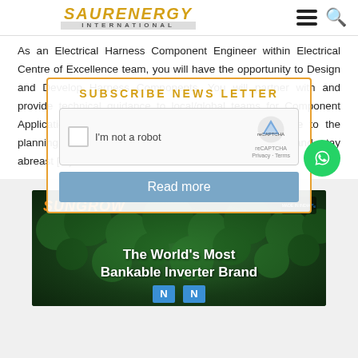SAUR ENERGY INTERNATIONAL
As an Electrical Harness Component Engineer within Electrical Centre of Excellence team, you will have the opportunity to Design and Develop Harness Components. You will partner with and provide technical guidance to local/global teams for Component Applications in Caterpillar Machines. You will contribute to the planning and delivery of projects, continually learn, and stay abreast [...]
[Figure (screenshot): Subscribe Newsletter overlay with reCAPTCHA and Read more button, with WhatsApp button overlay]
[Figure (photo): Sungrow advertisement banner: aerial view of green forest with text 'The World's Most Bankable Inverter Brand']